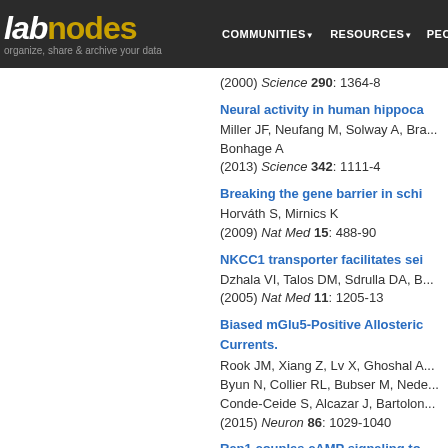labnodes | COMMUNITIES | RESOURCES | PEOPLE | organize, share & archive your data
(2000) Science 290: 1364-8
Neural activity in human hippoca...
Miller JF, Neufang M, Solway A, Bra... Bonhage A
(2013) Science 342: 1111-4
Breaking the gene barrier in schi...
Horváth S, Mirnics K
(2009) Nat Med 15: 488-90
NKCC1 transporter facilitates sei...
Dzhala VI, Talos DM, Sdrulla DA, B...
(2005) Nat Med 11: 1205-13
Biased mGlu5-Positive Allosteric... Currents.
Rook JM, Xiang Z, Lv X, Ghoshal A... Byun N, Collier RL, Bubser M, Nede... Conde-Ceide S, Alcazar J, Bartolon...
(2015) Neuron 86: 1029-1040
Rap1 couples cAMP signaling to... memory.
Morozov A, Muzzio IA, Bourtchoula...
(2003) Neuron 39: 309-25